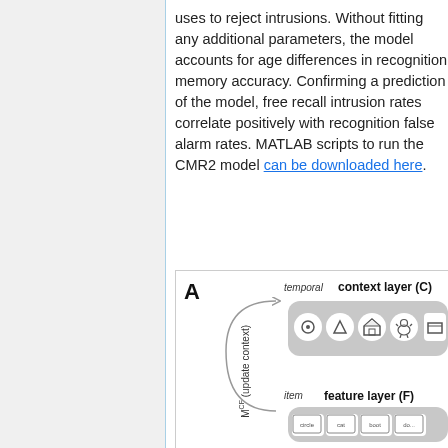uses to reject intrusions. Without fitting any additional parameters, the model accounts for age differences in recognition memory accuracy. Confirming a prediction of the model, free recall intrusion rates correlate positively with recognition false alarm rates. MATLAB scripts to run the CMR2 model can be downloaded here.
[Figure (schematic): Diagram panel A showing CMR2 model architecture with temporal context layer (C) at top connected via M^CF (update context) arrows to item feature layer (F) at bottom, with icon images in rounded grey boxes for each layer.]